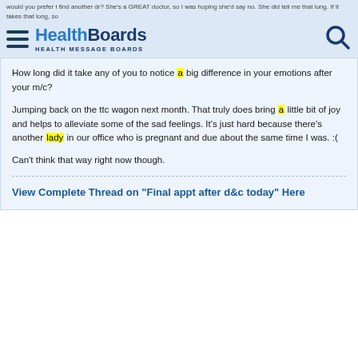HealthBoards HEALTH MESSAGE BOARDS
How long did it take any of you to notice a big difference in your emotions after your m/c?

Jumping back on the ttc wagon next month. That truly does bring a little bit of joy and helps to alleviate some of the sad feelings. It's just hard because there's another lady in our office who is pregnant and due about the same time I was. :(

Can't think that way right now though.
View Complete Thread on "Final appt after d&c today" Here